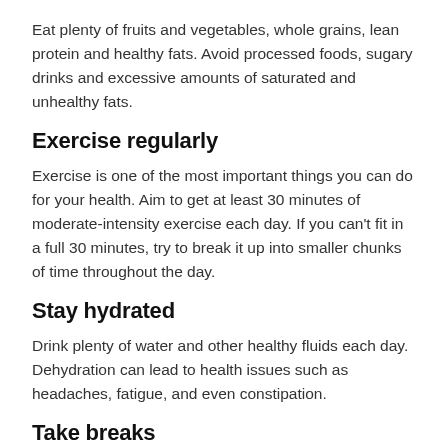Eat plenty of fruits and vegetables, whole grains, lean protein and healthy fats. Avoid processed foods, sugary drinks and excessive amounts of saturated and unhealthy fats.
Exercise regularly
Exercise is one of the most important things you can do for your health. Aim to get at least 30 minutes of moderate-intensity exercise each day. If you can't fit in a full 30 minutes, try to break it up into smaller chunks of time throughout the day.
Stay hydrated
Drink plenty of water and other healthy fluids each day. Dehydration can lead to health issues such as headaches, fatigue, and even constipation.
Take breaks